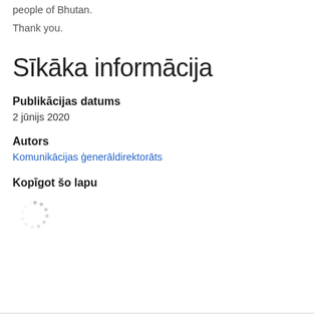people of Bhutan.
Thank you.
Sīkāka informācija
Publikācijas datums
2 jūnijs 2020
Autors
Komunikācijas ģenerāldirektorāts
Kopīgot šo lapu
[Figure (other): Loading spinner icon]